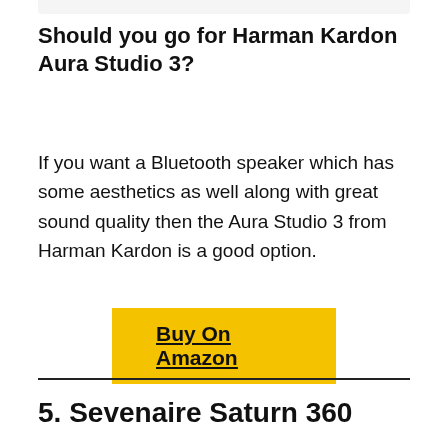Should you go for Harman Kardon Aura Studio 3?
If you want a Bluetooth speaker which has some aesthetics as well along with great sound quality then the Aura Studio 3 from Harman Kardon is a good option.
Buy On Amazon
5. Sevenaire Saturn 360